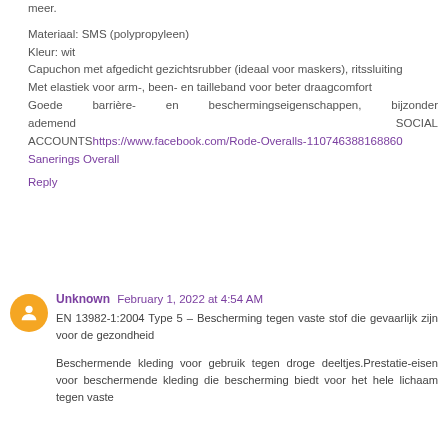meer.
Materiaal: SMS (polypropyleen)
Kleur: wit
Capuchon met afgedicht gezichtsrubber (ideaal voor maskers), ritssluiting
Met elastiek voor arm-, been- en tailleband voor beter draagcomfort
Goede barrière- en beschermingseigenschappen, bijzonder ademend
SOCIAL ACCOUNTShttps://www.facebook.com/Rode-Overalls-110746388168860 Sanerings Overall
Reply
Unknown  February 1, 2022 at 4:54 AM
EN 13982-1:2004 Type 5 – Bescherming tegen vaste stof die gevaarlijk zijn voor de gezondheid
Beschermende kleding voor gebruik tegen droge deeltjes.Prestatie-eisen voor beschermende kleding die bescherming biedt voor het hele lichaam tegen vaste